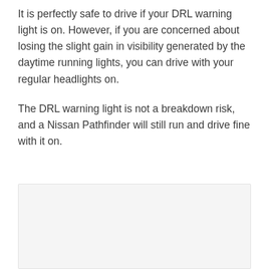It is perfectly safe to drive if your DRL warning light is on. However, if you are concerned about losing the slight gain in visibility generated by the daytime running lights, you can drive with your regular headlights on.
The DRL warning light is not a breakdown risk, and a Nissan Pathfinder will still run and drive fine with it on.
[Figure (photo): Image placeholder box at the bottom of the page, light gray background.]